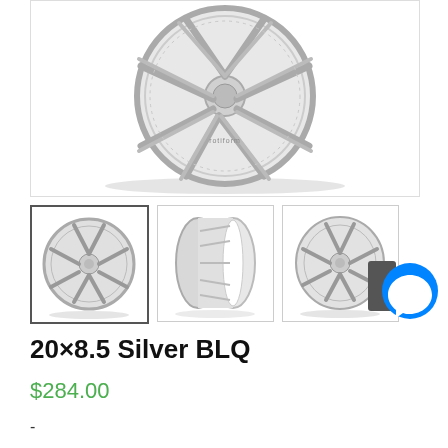[Figure (photo): Large main product image of a silver Rotiform BLQ wheel, front-face view, showing intricate multi-spoke design with 'rotiform' text embossed near center, on white background]
[Figure (photo): Thumbnail 1: Silver BLQ wheel front-face view (selected, highlighted border)]
[Figure (photo): Thumbnail 2: Silver BLQ wheel side/barrel view showing edge and spokes]
[Figure (photo): Thumbnail 3: Silver BLQ wheel slight angle view]
[Figure (illustration): Facebook Messenger floating button icon — blue circle with white lightning bolt chat icon]
20×8.5 Silver BLQ
$284.00
-